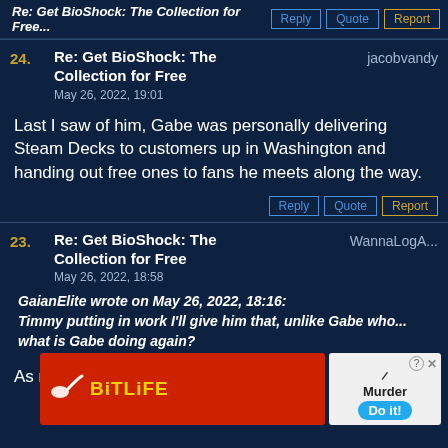Re: Get BioShock: The Collection for Free (truncated)
Reply | Quote | Report
24. Re: Get BioShock: The Collection for Free jacobvandy May 26, 2022, 19:01
Last I saw of him, Gabe was personally delivering Steam Decks to customers up in Washington and handing out free ones to fans he meets along the way.
Reply | Quote | Report
23. Re: Get BioShock: The Collection for Free WannaLogA... May 26, 2022, 18:58
GaianElite wrote on May 26, 2022, 18:16: Timmy putting in work I'll give him that, unlike Gabe who... what is Gabe doing again?
[Figure (screenshot): BitLife and Murder Do it! advertisement banners overlaid at the bottom of the post]
As n...